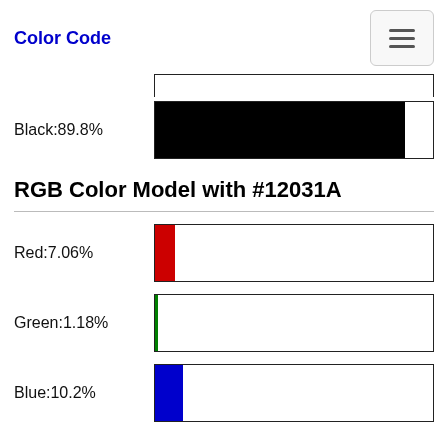Color Code
[Figure (infographic): Partial bar at top showing end of a previous row (Black color bar, mostly cut off at top)]
Black:89.8%
RGB Color Model with #12031A
Red:7.06%
Green:1.18%
Blue:10.2%